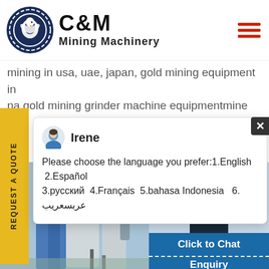[Figure (logo): C&M Mining Machinery logo with eagle in gear circle and company name text]
mining in usa, uae, japan, gold mining equipment in na,gold mining grinder machine equipmentmine
REQUEST A QUOTE
[Figure (screenshot): Chat popup with Irene avatar showing language selection prompt: Please choose the language you prefer:1.English 2.Español 3.русский 4.Français 5.bahasa Indonesia 6. عربسعريب]
[Figure (photo): Industrial mining machinery equipment with silos and pipes in background]
[Figure (photo): Customer service woman with headset smiling, with teal badge showing number 1]
Click to Chat
Enquiry